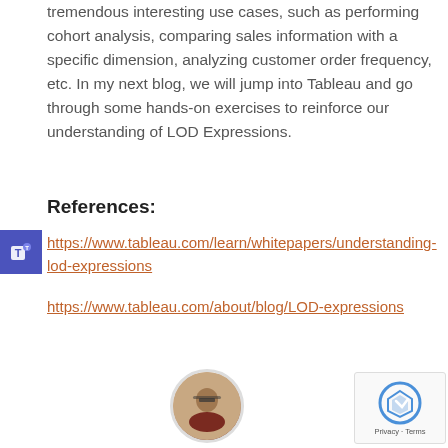tremendous interesting use cases, such as performing cohort analysis, comparing sales information with a specific dimension, analyzing customer order frequency, etc. In my next blog, we will jump into Tableau and go through some hands-on exercises to reinforce our understanding of LOD Expressions.
References:
https://www.tableau.com/learn/whitepapers/understanding-lod-expressions
https://www.tableau.com/about/blog/LOD-expressions
[Figure (photo): Circular avatar photo of a person wearing glasses]